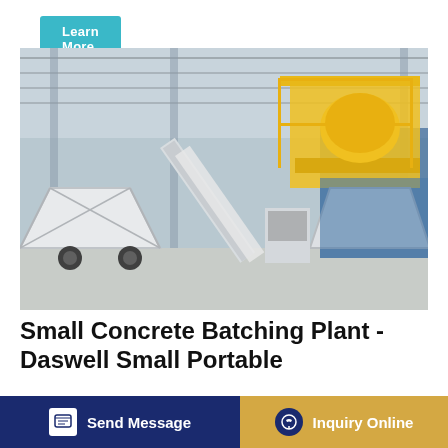[Figure (other): Learn More button - teal/cyan colored button with white text at top left]
[Figure (photo): Industrial factory interior showing a small concrete batching plant - white metal structure with yellow components, conveyor belt, aggregate bin, mounted on a trailer, inside a large manufacturing facility with metal roof trusses]
Small Concrete Batching Plant - Daswell Small Portable
...indicates small concrete production medium projects. For these small and medium size of projects, the
[Figure (other): Send Message button - dark navy blue button with message icon]
[Figure (other): Inquiry Online button - golden/tan colored button with headset icon]